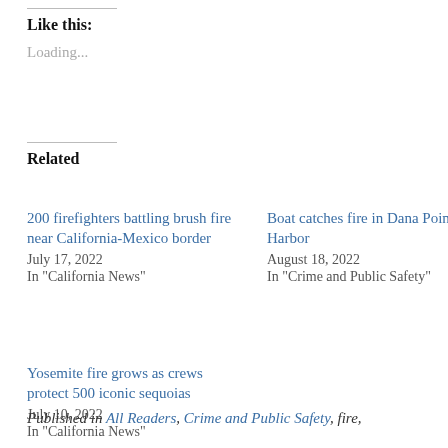Like this:
Loading...
Related
200 firefighters battling brush fire near California-Mexico border
July 17, 2022
In "California News"
Boat catches fire in Dana Point Harbor
August 18, 2022
In "Crime and Public Safety"
Yosemite fire grows as crews protect 500 iconic sequoias
July 10, 2022
In "California News"
Published in All Readers, Crime and Public Safety, fire,